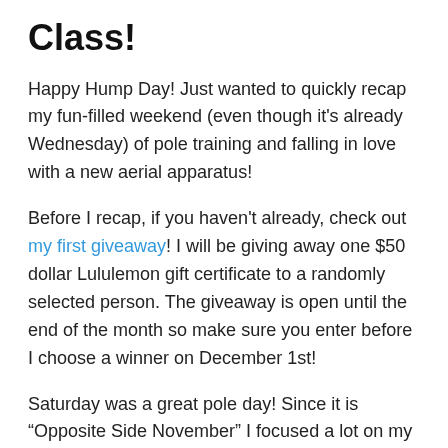Class!
Happy Hump Day! Just wanted to quickly recap my fun-filled weekend (even though it's already Wednesday) of pole training and falling in love with a new aerial apparatus!
Before I recap, if you haven't already, check out my first giveaway! I will be giving away one $50 dollar Lululemon gift certificate to a randomly selected person. The giveaway is open until the end of the month so make sure you enter before I choose a winner on December 1st!
Saturday was a great pole day! Since it is “Opposite Side November” I focused a lot on my “bad side.” I’ve noticed that my inverts on my opposite side have gotten so much better over the course of this month. The chronic pain I’ve